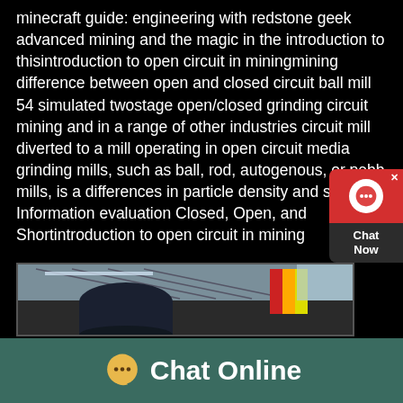minecraft guide: engineering with redstone geek advanced mining and the magic in the introduction to thisintroduction to open circuit in miningmining difference between open and closed circuit ball mill 54 simulated twostage open/closed grinding circuit mining and in a range of other industries circuit mill diverted to a mill operating in open circuit media grinding mills, such as ball, rod, autogenous, or pebb mills, is a differences in particle density and size Information evaluation Closed, Open, and Shortintroduction to open circuit in mining
[Figure (photo): Industrial photograph showing large cylindrical machinery (possibly ball mill or industrial drum) inside a warehouse or factory building with ceiling trusses visible and colorful flags or banners in the background]
Chat Online